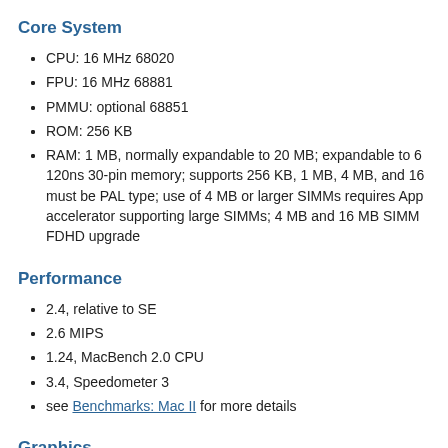Core System
CPU: 16 MHz 68020
FPU: 16 MHz 68881
PMMU: optional 68851
ROM: 256 KB
RAM: 1 MB, normally expandable to 20 MB; expandable to 6 120ns 30-pin memory; supports 256 KB, 1 MB, 4 MB, and 16 must be PAL type; use of 4 MB or larger SIMMs requires App accelerator supporting large SIMMs; 4 MB and 16 MB SIMM FDHD upgrade
Performance
2.4, relative to SE
2.6 MIPS
1.24, MacBench 2.0 CPU
3.4, Speedometer 3
see Benchmarks: Mac II for more details
Graphics